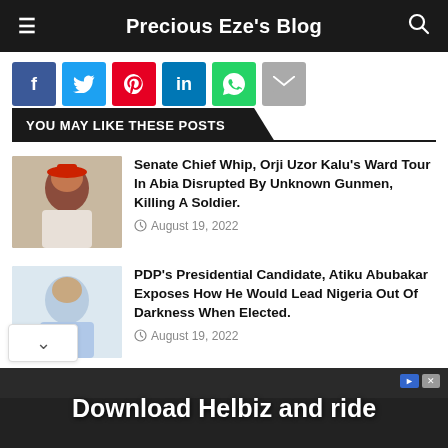Precious Eze's Blog
[Figure (other): Social media share buttons: Facebook, Twitter, Pinterest, LinkedIn, WhatsApp, Email]
YOU MAY LIKE THESE POSTS
[Figure (photo): Photo of Senate Chief Whip Orji Uzor Kalu wearing red cap and white outfit, smiling]
Senate Chief Whip, Orji Uzor Kalu's Ward Tour In Abia Disrupted By Unknown Gunmen, Killing A Soldier.
August 19, 2022
[Figure (photo): Photo of Atiku Abubakar in light blue outfit, smiling]
PDP's Presidential Candidate, Atiku Abubakar Exposes How He Would Lead Nigeria Out Of Darkness When Elected.
August 19, 2022
[Figure (other): Advertisement banner: Download Helbiz and ride]